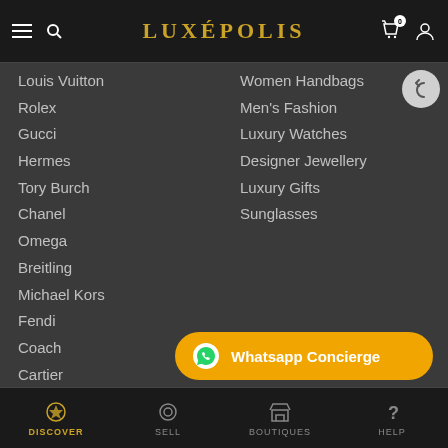LUXÉPOLIS
Louis Vuitton
Rolex
Gucci
Hermes
Tory Burch
Chanel
Omega
Breitling
Michael Kors
Fendi
Coach
Cartier
Hublot
Salvatore Ferragamo
Burberry
Tag Heuer
Women Handbags
Men's Fashion
Luxury Watches
Designer Jewellery
Luxury Gifts
Sunglasses
Whatsapp Concierge
DISCOVER   SELL   BOUTIQUES   HELP